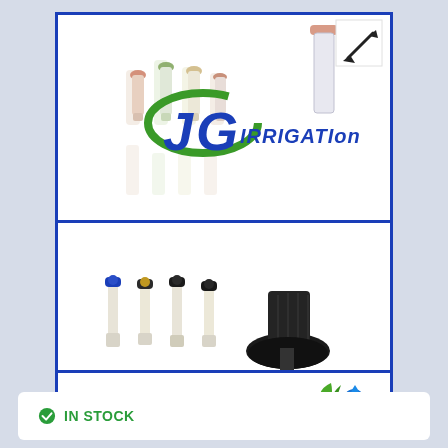[Figure (photo): JG Irrigation product image showing various drip irrigation emitters and spray heads with the JG Irrigation logo. Includes a zoom/resize icon in top right corner.]
[Figure (photo): JG Irrigation product image showing four black-topped irrigation emitters in a row on the left, and a large black pop-up sprinkler head on the right.]
[Figure (logo): JG IRRIGATION company logo in blue bold italic text with a green leaf and blue water drop icon on the right.]
IN STOCK